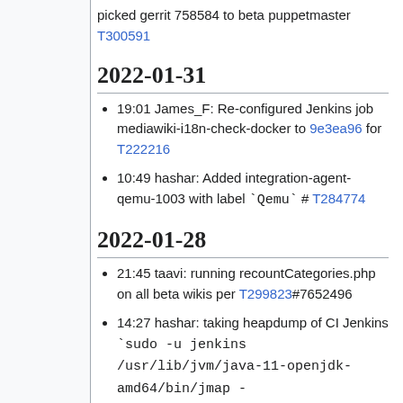picked gerrit 758584 to beta puppetmaster T300591
2022-01-31
19:01 James_F: Re-configured Jenkins job mediawiki-i18n-check-docker to 9e3ea96 for T222216
10:49 hashar: Added integration-agent-qemu-1003 with label `Qemu` # T284774
2022-01-28
21:45 taavi: running recountCategories.php on all beta wikis per T299823#7652496
14:27 hashar: taking heapdump of CI Jenkins `sudo -u jenkins /usr/lib/jvm/java-11-openjdk-amd64/bin/jmap -